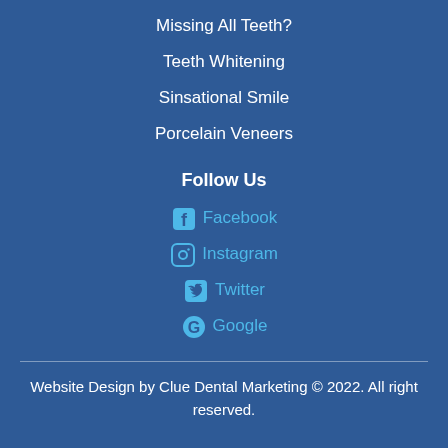Missing All Teeth?
Teeth Whitening
Sinsational Smile
Porcelain Veneers
Follow Us
Facebook
Instagram
Twitter
Google
Website Design by Clue Dental Marketing © 2022. All right reserved.